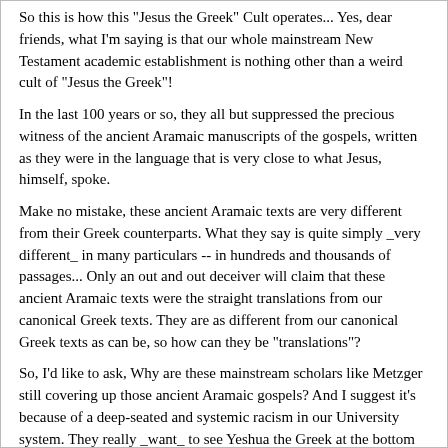So this is how this "Jesus the Greek" Cult operates... Yes, dear friends, what I'm saying is that our whole mainstream New Testament academic establishment is nothing other than a weird cult of "Jesus the Greek"!
In the last 100 years or so, they all but suppressed the precious witness of the ancient Aramaic manuscripts of the gospels, written as they were in the language that is very close to what Jesus, himself, spoke.
Make no mistake, these ancient Aramaic texts are very different from their Greek counterparts. What they say is quite simply _very different_ in many particulars -- in hundreds and thousands of passages... Only an out and out deceiver will claim that these ancient Aramaic texts were the straight translations from our canonical Greek texts. They are as different from our canonical Greek texts as can be, so how can they be "translations"?
So, I'd like to ask, Why are these mainstream scholars like Metzger still covering up those ancient Aramaic gospels? And I suggest it's because of a deep-seated and systemic racism in our University system. They really _want_ to see Yeshua the Greek at the bottom of that well! So this is what they see, and the hard textual evidence be damned.
So this is the Great Aramaic Cover-up, folks! And the professional deceivers like Dr. Bruce Metzger have certainly done plenty of work to put it into place.
Sincerely,
Vic